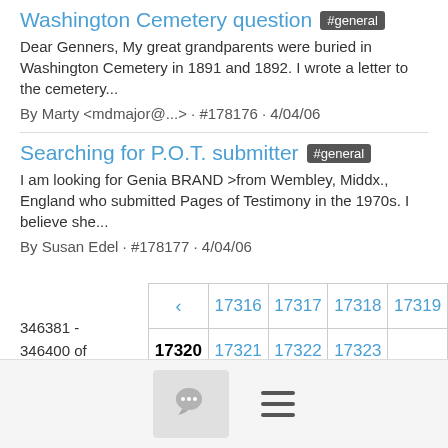Washington Cemetery question #general
Dear Genners, My great grandparents were buried in Washington Cemetery in 1891 and 1892. I wrote a letter to the cemetery...
By Marty <mdmajor@...> · #178176 · 4/04/06
Searching for P.O.T. submitter #general
I am looking for Genia BRAND >from Wembley, Middx., England who submitted Pages of Testimony in the 1970s. I believe she...
By Susan Edel · #178177 · 4/04/06
346381 - 346400 of 671212
[Figure (other): Pagination control showing page numbers: back arrow, 17316, 17317, 17318, 17319, 17320 (current/bold), 17321, 17322, 17323, 17324, forward arrow]
[Figure (other): Bottom navigation bar with chat bubble icon button and hamburger menu icon]